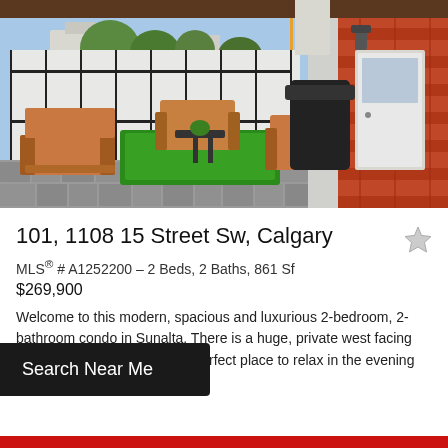[Figure (photo): Outdoor rooftop terrace/patio with wooden lounge chairs, a small table, green artificial grass patch, black metal railing fence, brick wall on right side, and a BBQ grill covered with black cover. Blue sky in background with trees and residential buildings.]
101, 1108 15 Street Sw, Calgary
MLS® # A1252200 – 2 Beds, 2 Baths, 861 Sf
$269,900
Welcome to this modern, spacious and luxurious 2-bedroom, 2-bathroom condo in Sunalta. There is a huge, private west facing walk up terrace space is the perfect place to relax in the evening sun or...
Search Near Me